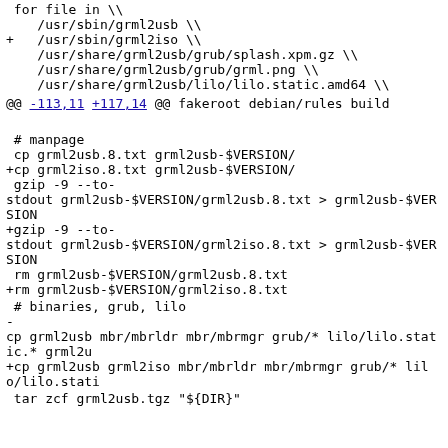for file in \
   /usr/sbin/grml2usb \
+  /usr/sbin/grml2iso \
   /usr/share/grml2usb/grub/splash.xpm.gz \
   /usr/share/grml2usb/grub/grml.png \
   /usr/share/grml2usb/lilo/lilo.static.amd64 \
@@ -113,11 +117,14 @@ fakeroot debian/rules build
# manpage
 cp grml2usb.8.txt grml2usb-$VERSION/
+cp grml2iso.8.txt grml2usb-$VERSION/
 gzip -9 --to-stdout grml2usb-$VERSION/grml2usb.8.txt > grml2usb-$VERSION
+gzip -9 --to-stdout grml2usb-$VERSION/grml2iso.8.txt > grml2usb-$VERSION
 rm grml2usb-$VERSION/grml2usb.8.txt
+rm grml2usb-$VERSION/grml2iso.8.txt
# binaries, grub, lilo
-cp grml2usb mbr/mbrldr mbr/mbrmgr grub/* lilo/lilo.static.* grml2u
+cp grml2usb grml2iso mbr/mbrldr mbr/mbrmgr grub/* lilo/lilo.stati
tar zcf grml2usb.tgz "${DIR}"